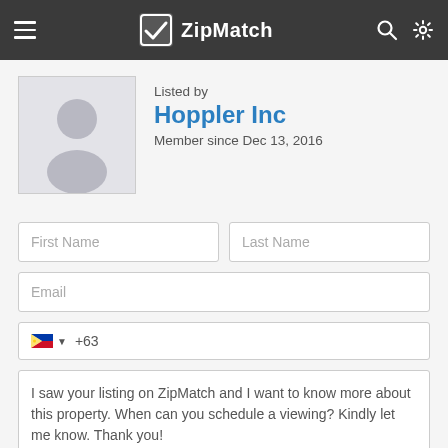ZipMatch
Listed by
Hoppler Inc
Member since Dec 13, 2016
[Figure (illustration): Default avatar placeholder image of a person silhouette on gray background]
First Name
Last Name
Email
+63
I saw your listing on ZipMatch and I want to know more about this property. When can you schedule a viewing? Kindly let me know. Thank you!